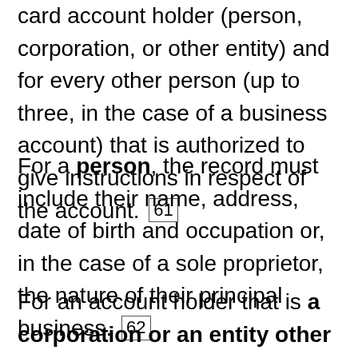card account holder (person, corporation, or other entity) and for every other person (up to three, in the case of a business account) that is authorized to give instructions in respect of the account. [61]
For a person, the record must include their name, address, date of birth and occupation or, in the case of a sole proprietor, the nature of their principal business. [62]
For an account holder that is a corporation or an entity other than a corporation, the record must include its name, address and the nature of its